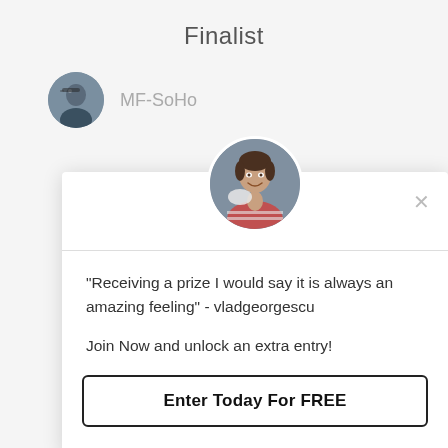Finalist
MF-SoHo
[Figure (photo): Small circular avatar photo of a man wearing sunglasses and a blue jacket]
[Figure (photo): Circular avatar photo of a smiling young man in a striped shirt, shown in a modal dialog]
"Receiving a prize I would say it is always an amazing feeling" - vladgeorgescu
Join Now and unlock an extra entry!
Enter Today For FREE